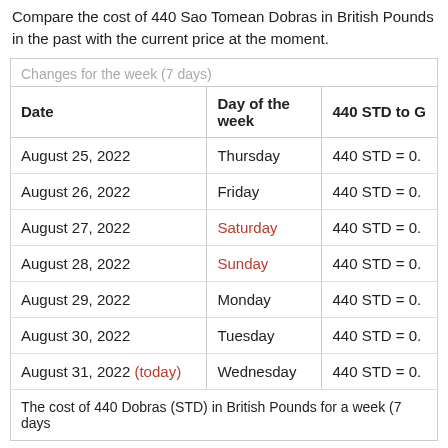Compare the cost of 440 Sao Tomean Dobras in British Pounds in the past with the current price at the moment.
| Date | Day of the week | 440 STD to G |
| --- | --- | --- |
| August 25, 2022 | Thursday | 440 STD = 0. |
| August 26, 2022 | Friday | 440 STD = 0. |
| August 27, 2022 | Saturday | 440 STD = 0. |
| August 28, 2022 | Sunday | 440 STD = 0. |
| August 29, 2022 | Monday | 440 STD = 0. |
| August 30, 2022 | Tuesday | 440 STD = 0. |
| August 31, 2022 (today) | Wednesday | 440 STD = 0. |
The cost of 440 Dobras (STD) in British Pounds for a week (7 days
| Date | Day of the week | 440 STD t |
| --- | --- | --- |